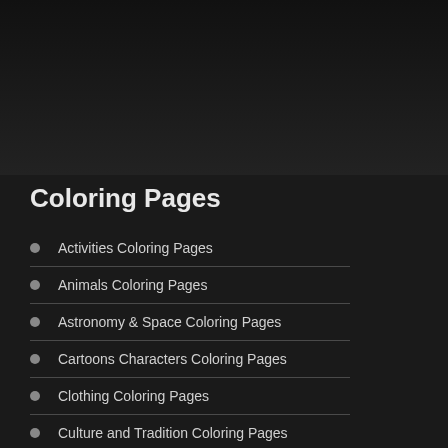Coloring Pages
Activities Coloring Pages
Animals Coloring Pages
Astronomy & Space Coloring Pages
Cartoons Characters Coloring Pages
Clothing Coloring Pages
Culture and Tradition Coloring Pages
Worksheets
English Activity Worksheets